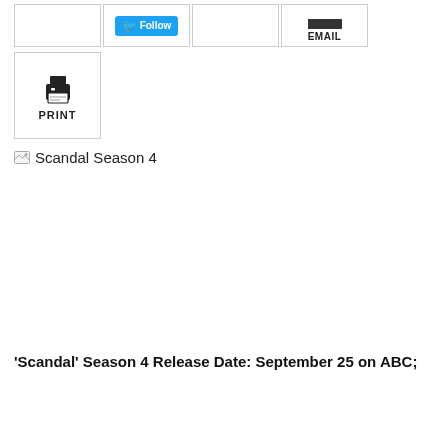[Figure (screenshot): Social sharing buttons row: Twitter Follow button, empty button, Email button with dark rectangle icon]
[Figure (screenshot): Print button with printer icon and PRINT label]
[Figure (screenshot): Broken image placeholder labeled 'Scandal Season 4']
'Scandal' Season 4 Release Date: September 25 on ABC;